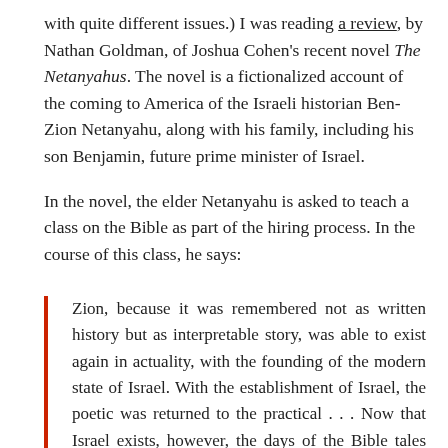with quite different issues.)  I was reading a review, by Nathan Goldman, of Joshua Cohen's recent novel The Netanyahus. The novel is a fictionalized account of the coming to America of the Israeli historian Ben-Zion Netanyahu, along with his family, including his son Benjamin, future prime minister of Israel.
In the novel, the elder Netanyahu is asked to teach a class on the Bible as part of the hiring process. In the course of this class, he says:
Zion, because it was remembered not as written history but as interpretable story, was able to exist again in actuality, with the founding of the modern state of Israel. With the establishment of Israel, the poetic was returned to the practical . . . Now that Israel exists, however, the days of the Bible tales are finished, and the true history of...